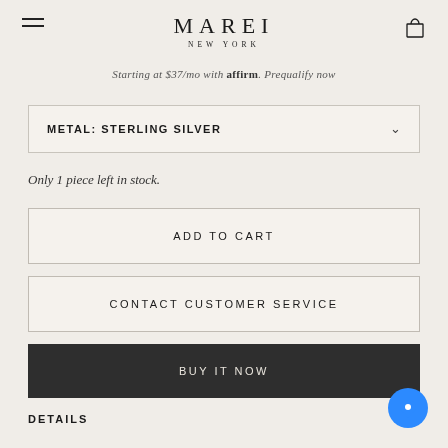MAREI NEW YORK
Starting at $37/mo with affirm. Prequalify now
METAL: STERLING SILVER
Only 1 piece left in stock.
ADD TO CART
CONTACT CUSTOMER SERVICE
BUY IT NOW
DETAILS